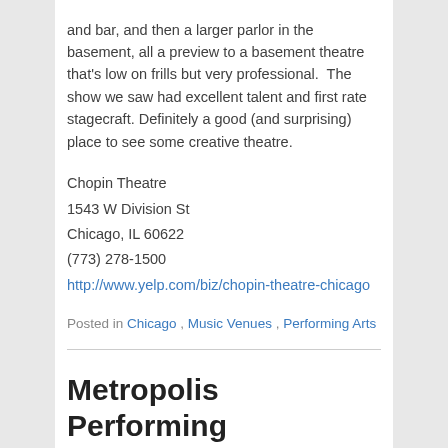and bar, and then a larger parlor in the basement, all a preview to a basement theatre that's low on frills but very professional.  The show we saw had excellent talent and first rate stagecraft. Definitely a good (and surprising) place to see some creative theatre.
Chopin Theatre
1543 W Division St
Chicago, IL 60622
(773) 278-1500
http://www.yelp.com/biz/chopin-theatre-chicago
Posted in Chicago, Music Venues, Performing Arts
Metropolis Performing Arts Centre
Posted on June 1, 2014
★★★★★ (5 stars)